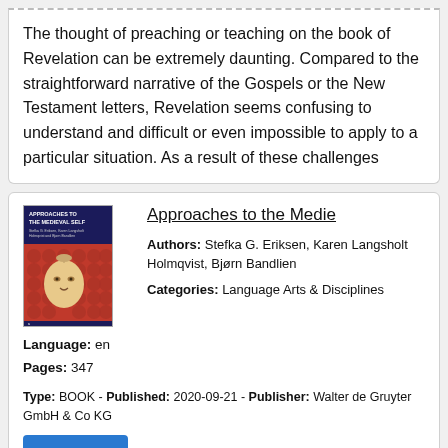The thought of preaching or teaching on the book of Revelation can be extremely daunting. Compared to the straightforward narrative of the Gospels or the New Testament letters, Revelation seems confusing to understand and difficult or even impossible to apply to a particular situation. As a result of these challenges
[Figure (photo): Book cover of 'Approaches to the Medieval Self' showing a medieval illustration of a face/head on a red patterned background, with dark blue upper section containing title text]
Approaches to the Medie
Authors: Stefka G. Eriksen, Karen Langsholt Holmqvist, Bjørn Bandlien
Language: en
Pages: 347
Categories: Language Arts & Disciplines
Type: BOOK - Published: 2020-09-21 - Publisher: Walter de Gruyter GmbH & Co KG